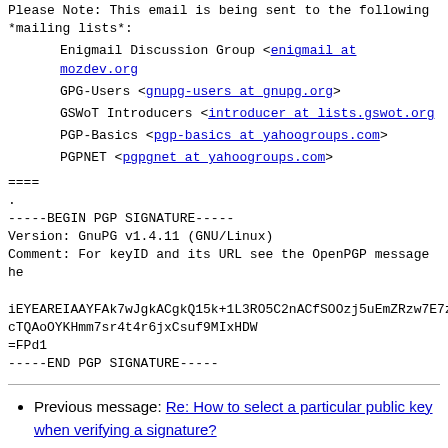Please Note: This email is being sent to the following *mailing lists*:
Enigmail Discussion Group <enigmail at mozdev.org>
GPG-Users <gnupg-users at gnupg.org>
GSWoT Introducers <introducer at lists.gswot.org>
PGP-Basics <pgp-basics at yahoogroups.com>
PGPNET <pgpgnet at yahoogroups.com>
====
.
-----BEGIN PGP SIGNATURE-----
Version: GnuPG v1.4.11 (GNU/Linux)
Comment: For keyID and its URL see the OpenPGP message he

iEYEAREIAAYFAk7wJgkACgkQ15k+1L3RO5C2nACfSOOzj5uEmZRzw7E7z
cTQAoOYKHmm7sr4t4r6jxCsuf9MIxHDW
=FPd1
-----END PGP SIGNATURE-----
Previous message: Re: How to select a particular public key when verifying a signature?
Next message: GnuPG 2.1 beta 3 released
Messages sorted by: [ date ] [ thread ] [ subject ] [ author ]
More information about the Gnupg-users mailing list